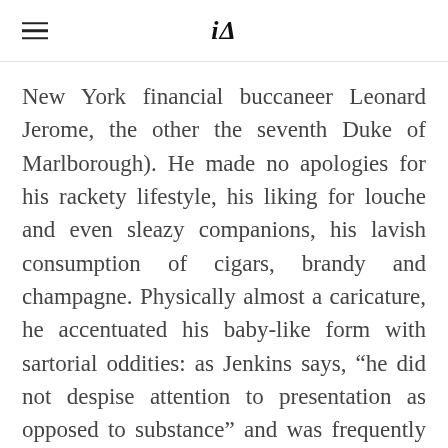iA
New York financial buccaneer Leonard Jerome, the other the seventh Duke of Marlborough). He made no apologies for his rackety lifestyle, his liking for louche and even sleazy companions, his lavish consumption of cigars, brandy and champagne. Physically almost a caricature, he accentuated his baby-like form with sartorial oddities: as Jenkins says, “he did not despise attention to presentation as opposed to substance” and was frequently “accoutred in one of his ‘funny’ hats and never without a cigar.” And what other great world leader can one imagine forcing his entourage-which included some famously fastidious characters-to join